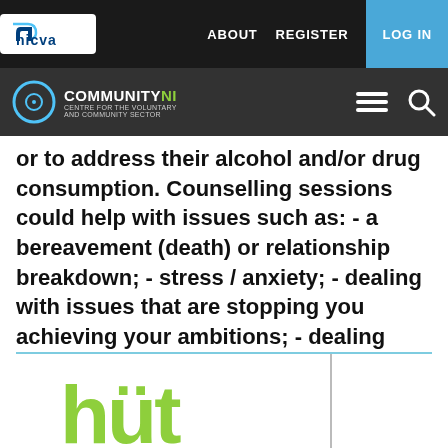nicva | ABOUT REGISTER LOG IN | COMMUNITYNI
or to address their alcohol and/or drug consumption. Counselling sessions could help with issues such as: - a bereavement (death) or relationship breakdown; - stress / anxiety; - dealing with issues that are stopping you achieving your ambitions; - dealing with feelings of depression or sadness; - understanding yourself and your problems better; - feeling more confident; - dealing with issues surroundi
[Figure (logo): hüt logo in green/lime color at bottom of page]